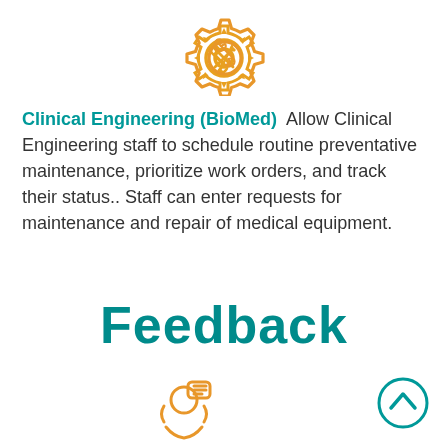[Figure (illustration): Orange gear/settings icon with wrench and screwdriver inside, centered at top of page]
Clinical Engineering (BioMed)  Allow Clinical Engineering staff to schedule routine preventative maintenance, prioritize work orders, and track their status.. Staff can enter requests for maintenance and repair of medical equipment.
Feedback
[Figure (illustration): Orange icon showing a person with a speech/feedback bubble and circular arrows, partially visible at bottom center]
[Figure (illustration): Teal circle with upward chevron arrow, positioned at bottom right]